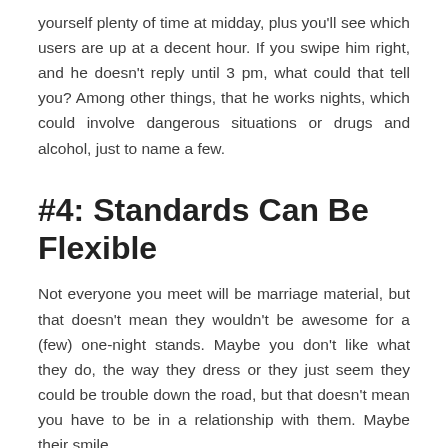yourself plenty of time at midday, plus you'll see which users are up at a decent hour. If you swipe him right, and he doesn't reply until 3 pm, what could that tell you? Among other things, that he works nights, which could involve dangerous situations or drugs and alcohol, just to name a few.
#4: Standards Can Be Flexible
Not everyone you meet will be marriage material, but that doesn't mean they wouldn't be awesome for a (few) one-night stands. Maybe you don't like what they do, the way they dress or they just seem they could be trouble down the road, but that doesn't mean you have to be in a relationship with them. Maybe their smile